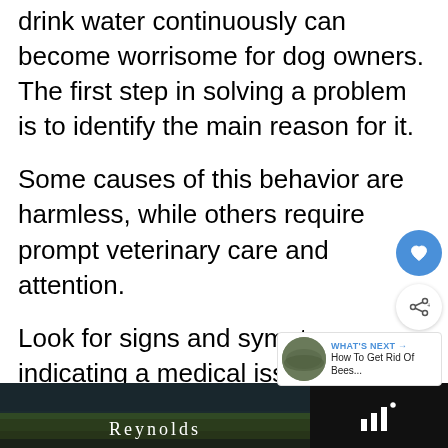drink water continuously can become worrisome for dog owners. The first step in solving a problem is to identify the main reason for it.
Some causes of this behavior are harmless, while others require prompt veterinary care and attention.
Look for signs and symptoms indicating a medical issue. It is possible that your dog is drinking after playing in the heat.
[Figure (screenshot): Bottom advertisement bar showing a video thumbnail with 'REYNOLDS' text overlay and a play button icon, alongside a dark panel with audio/signal bars icon on the right.]